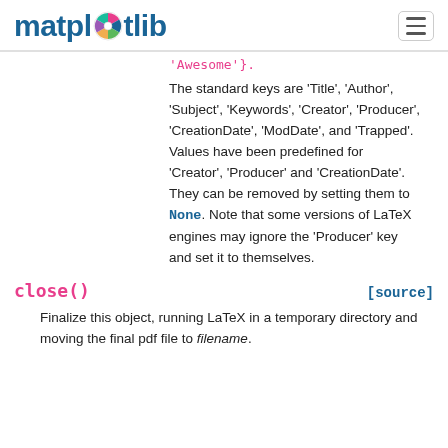matplotlib
'Awesome'}.
The standard keys are 'Title', 'Author', 'Subject', 'Keywords', 'Creator', 'Producer', 'CreationDate', 'ModDate', and 'Trapped'. Values have been predefined for 'Creator', 'Producer' and 'CreationDate'. They can be removed by setting them to None. Note that some versions of LaTeX engines may ignore the 'Producer' key and set it to themselves.
close()
[source]
Finalize this object, running LaTeX in a temporary directory and moving the final pdf file to filename.